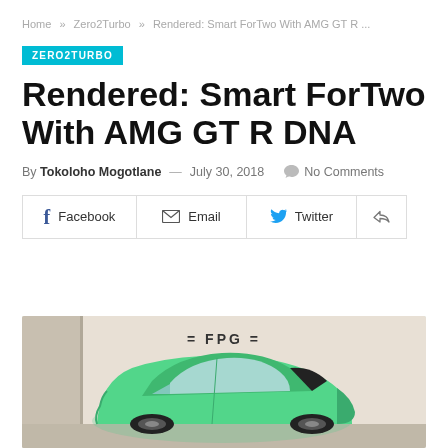Home » Zero2Turbo » Rendered: Smart ForTwo With AMG GT R ...
ZERO2TURBO
Rendered: Smart ForTwo With AMG GT R DNA
By Tokoloho Mogotlane — July 30, 2018  No Comments
[Figure (infographic): Social share buttons: Facebook, Email, Twitter, and a share icon]
[Figure (photo): Rendered image of a green Smart ForTwo car with AMG GT R styling, with an FPG logo visible in the background]